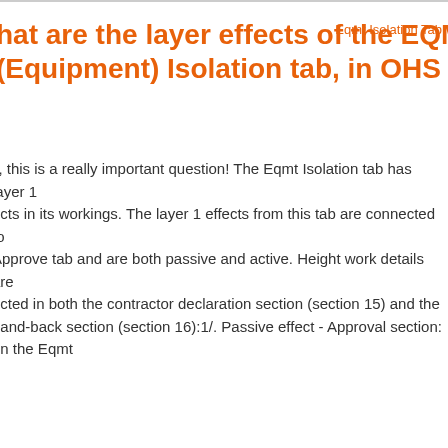Eqmt Isolation Tab
hat are the layer effects of the EQMT (Equipment) Isolation tab, in OHS Online?
y, this is a really important question! The Eqmt Isolation tab has layer 1 ects in its workings. The layer 1 effects from this tab are connected to Approve tab and are both passive and active. Height work details are ected in both the contractor declaration section (section 15) and the hand-back section (section 16):1/. Passive effect - Approval section: en the Eqmt
View Full Answer
Our website uses cookies and for site analysis. If you choosing your preference, we'll assume that you're fine with cookies.
Hey there!
How can we help you tod...
I Accept
Equipment Isolation Workings